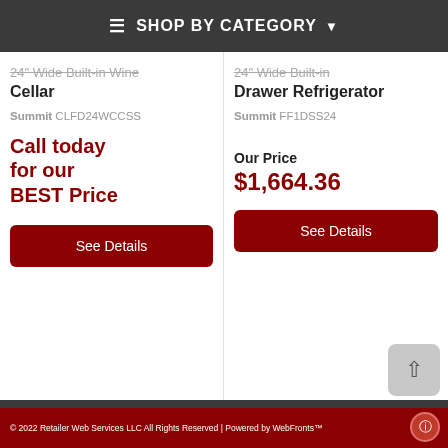☰ SHOP BY CATEGORY ▾
24" Wide Built-in Wine Cellar
Summit CLFD24WCCSS
Call today for our BEST Price
See Details
24" Wide Built-in Drawer Refrigerator
Summit FF1DSS24
Our Price $1,664.36
See Details
© 2022 Retailer Web Services LLC All Rights Reserved | Powered by WebFronts™